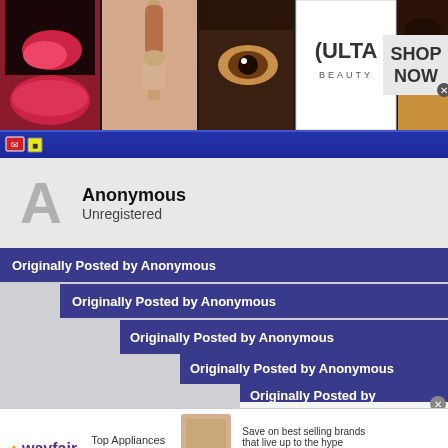[Figure (photo): Ulta Beauty advertisement banner with makeup/cosmetics imagery, lipstick, brushes, eyes, Ulta logo, and 'SHOP NOW' button]
[Figure (screenshot): Blue browser toolbar with small icons]
Anonymous
Unregistered
Originally Posted by Anonymous
Originally Posted by Anonymous
Originally Posted by Anonymous
Originally Posted by Anonymous
Originally Posted by Anonymous
Stop trying to diminish it as though Yale could be gr
[Figure (photo): Wayfair advertisement banner with Top Appliances Low Prices, stove image, and Shop now button]